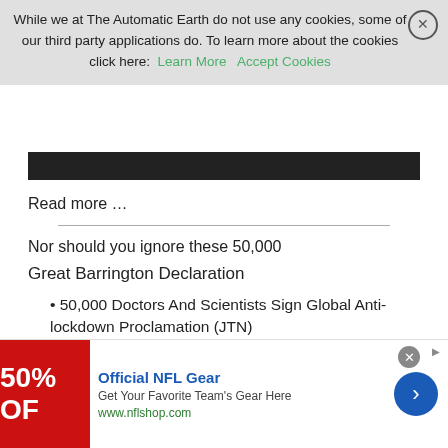While we at The Automatic Earth do not use any cookies, some of our third party applications do. To learn more about the cookies click here: Learn More   Accept Cookies
Read more …
Nor should you ignore these 50,000
Great Barrington Declaration
• 50,000 Doctors And Scientists Sign Global Anti-lockdown Proclamation (JTN)
Six weeks after it was first published, the Great Barrington Declaration — an international pronouncement meant to shine light on
[Figure (infographic): Advertisement for Official NFL Gear: 50% OFF, Get Your Favorite Team's Gear Here, www.nflshop.com]